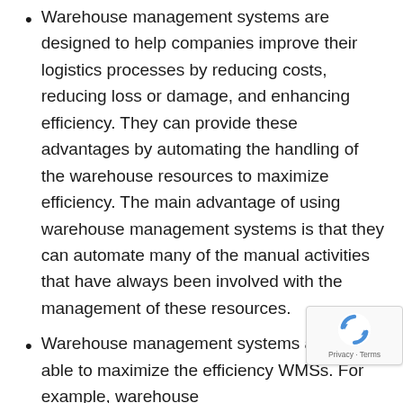Warehouse management systems are designed to help companies improve their logistics processes by reducing costs, reducing loss or damage, and enhancing efficiency. They can provide these advantages by automating the handling of the warehouse resources to maximize efficiency. The main advantage of using warehouse management systems is that they can automate many of the manual activities that have always been involved with the management of these resources.
Warehouse management systems are also able to maximize the efficiency WMSs. For example, warehouse